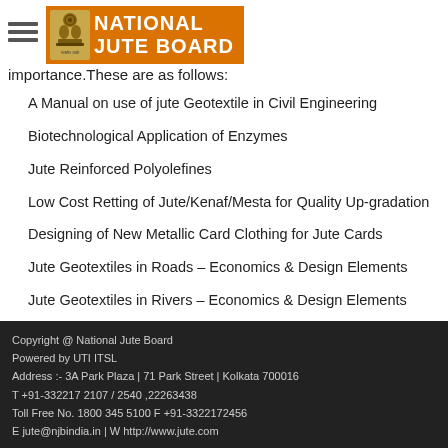National Jute Board
importance.These are as follows:
A Manual on use of jute Geotextile in Civil Engineering
Biotechnological Application of Enzymes
Jute Reinforced Polyolefines
Low Cost Retting of Jute/Kenaf/Mesta for Quality Up-gradation
Designing of New Metallic Card Clothing for Jute Cards
Jute Geotextiles in Roads – Economics & Design Elements
Jute Geotextiles in Rivers – Economics & Design Elements
Copyright @ National Jute Board
Powered by UTI ITSL
Address :- 3A Park Plaza | 71 Park Street | Kolkata 700016
T +91-332217 2107 / 2540 ,22263438
Toll Free No. 1800 345 5100 F +91-3322172456
E jute@njbindia.in | W http://www.jute.com